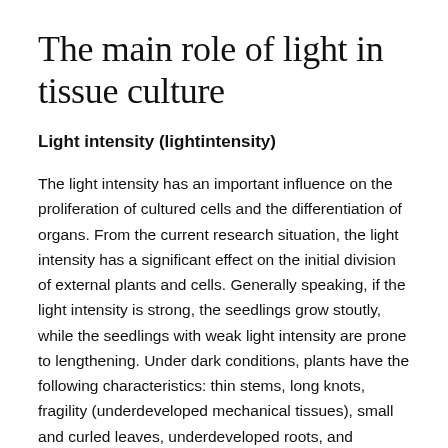The main role of light in tissue culture
Light intensity (lightintensity)
The light intensity has an important influence on the proliferation of cultured cells and the differentiation of organs. From the current research situation, the light intensity has a significant effect on the initial division of external plants and cells. Generally speaking, if the light intensity is strong, the seedlings grow stoutly, while the seedlings with weak light intensity are prone to lengthening. Under dark conditions, plants have the following characteristics: thin stems, long knots, fragility (underdeveloped mechanical tissues), small and curled leaves, underdeveloped roots, and yellowing of the whole